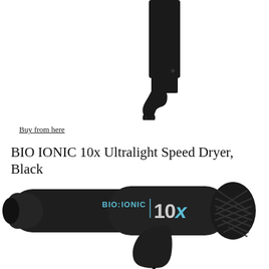[Figure (photo): A black hair straightener/flat iron shown from above, partially visible at the top of the page, showing the handle and hinge area against a white background.]
Buy from here
BIO IONIC 10x Ultralight Speed Dryer, Black
[Figure (photo): A black BIO IONIC 10x hair dryer shown in profile view, with the brand name and '10x' logo visible on the barrel, and the air intake grille visible on the body.]